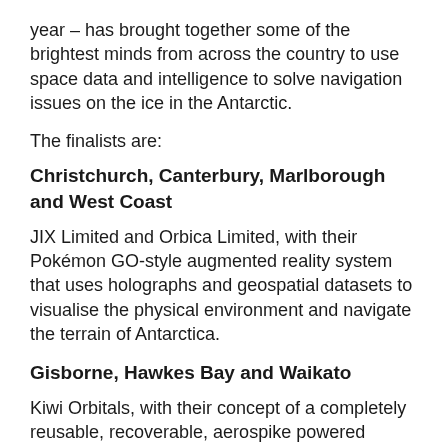year – has brought together some of the brightest minds from across the country to use space data and intelligence to solve navigation issues on the ice in the Antarctic.
The finalists are:
Christchurch, Canterbury, Marlborough and West Coast
JIX Limited and Orbica Limited, with their Pokémon GO-style augmented reality system that uses holographs and geospatial datasets to visualise the physical environment and navigate the terrain of Antarctica.
Gisborne, Hawkes Bay and Waikato
Kiwi Orbitals, with their concept of a completely reusable, recoverable, aerospike powered suborbital rocket – designed to carry 4kg to 40km altitude.